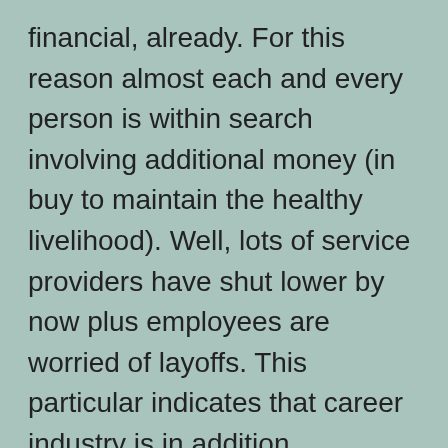financial, already. For this reason almost each and every person is within search involving additional money (in buy to maintain the healthy livelihood). Well, lots of service providers have shut lower by now plus employees are worried of layoffs. This particular indicates that career industry is in addition staggering on consideration of the brunt of recession. Exactlty what can you do in this kind of period? Are you thinking of starting a new organization? If you are usually serious, let me point out several tycoons have got become belly-up and you could be the following one.